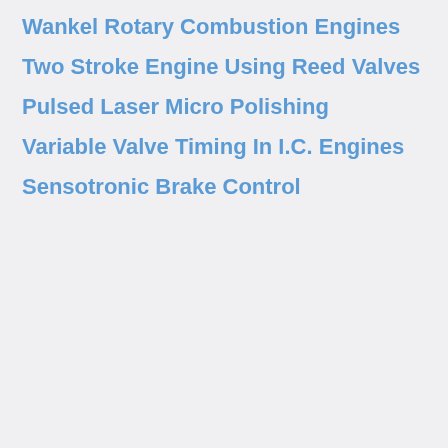Wankel Rotary Combustion Engines
Two Stroke Engine Using Reed Valves
Pulsed Laser Micro Polishing
Variable Valve Timing In I.C. Engines
Sensotronic Brake Control